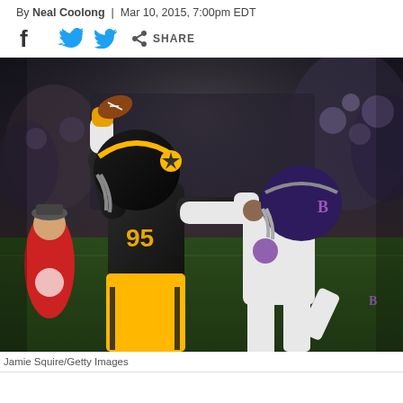By Neal Coolong | Mar 10, 2015, 7:00pm EDT
[Figure (other): Facebook icon, Twitter bird icon, and share icon with SHARE text — social media sharing bar]
[Figure (photo): NFL football game action photo: Pittsburgh Steelers player #95 in black and gold uniform catching/holding a football with both hands raised above head, being defended by a Baltimore Ravens player in white uniform with purple helmet. Night game in a stadium with fans in the background.]
Jamie Squire/Getty Images